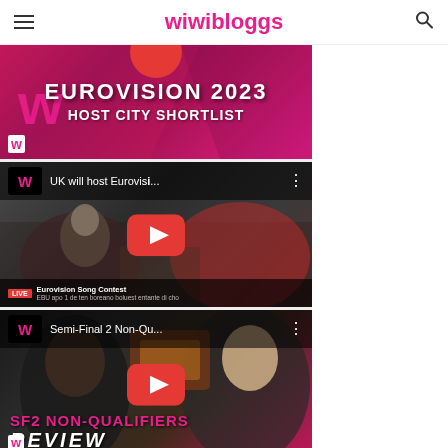wiwibloggs
[Figure (screenshot): Eurovision 2023 Host City Shortlist thumbnail with pink/red gradient background]
[Figure (screenshot): YouTube video thumbnail: UK will host Eurovi... with play button overlay on news studio background]
[Figure (screenshot): YouTube video thumbnail: Semi-Final 2 Non-Qu... with SF2 NON-QUALIFIERS REVIEW text overlay and play button]